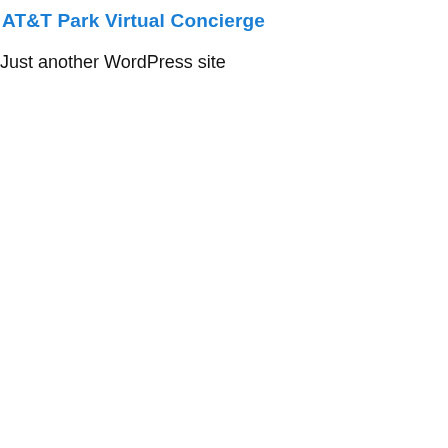AT&T Park Virtual Concierge
Just another WordPress site